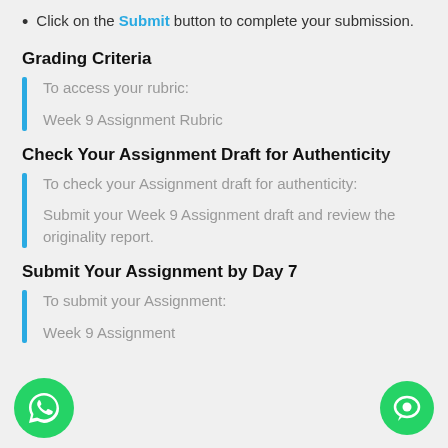Click on the Submit button to complete your submission.
Grading Criteria
To access your rubric:

Week 9 Assignment Rubric
Check Your Assignment Draft for Authenticity
To check your Assignment draft for authenticity:

Submit your Week 9 Assignment draft and review the originality report.
Submit Your Assignment by Day 7
To submit your Assignment:

Week 9 Assignment